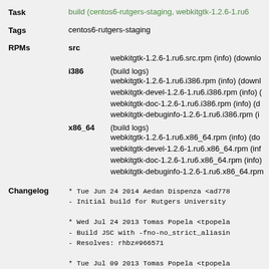Task: build (centos6-rutgers-staging, webkitgtk-1.2.6-1.ru6...
Tags: centos6-rutgers-staging
RPMs: src webkitgtk-1.2.6-1.ru6.src.rpm (info) (download...) i386 (build logs) webkitgtk-1.2.6-1.ru6.i386.rpm (info) (download...) webkitgtk-devel-1.2.6-1.ru6.i386.rpm (info) (... webkitgtk-doc-1.2.6-1.ru6.i386.rpm (info) (d... webkitgtk-debuginfo-1.2.6-1.ru6.i386.rpm (i... x86_64 (build logs) webkitgtk-1.2.6-1.ru6.x86_64.rpm (info) (do... webkitgtk-devel-1.2.6-1.ru6.x86_64.rpm (inf... webkitgtk-doc-1.2.6-1.ru6.x86_64.rpm (info)... webkitgtk-debuginfo-1.2.6-1.ru6.x86_64.rpm...
Changelog:
* Tue Jun 24 2014 Aedan Dispenza <ad778...
- Initial build for Rutgers University

* Wed Jul 24 2013 Tomas Popela <tpopela...
- Build JSC with -fno-no_strict_aliasin...
- Resolves: rhbz#966571

* Tue Jul 09 2013 Tomas Popela <tpopela...
- Enable JIT on x86 and x86-64
- Resolves: rhbz#966571